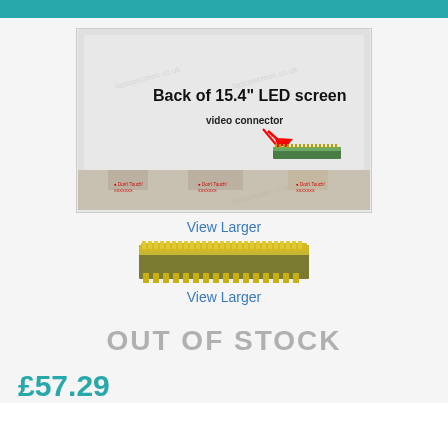[Figure (photo): Back of a 15.4 inch LED laptop screen showing the video connector with a red arrow pointing to it. Watermark text 'laptopscreen.co.uk' visible. Text on image: 'Back of 15.4" LED screen' and 'video connector'.]
View Larger
[Figure (photo): Close-up of a laptop screen video connector (flat ribbon connector strip).]
View Larger
OUT OF STOCK
£57.29